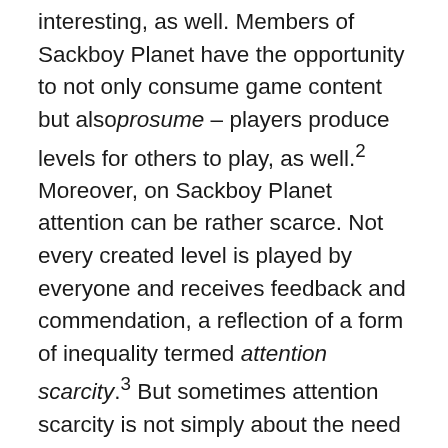interesting, as well. Members of Sackboy Planet have the opportunity to not only consume game content but also prosume – players produce levels for others to play, as well.2 Moreover, on Sackboy Planet attention can be rather scarce. Not every created level is played by everyone and receives feedback and commendation, a reflection of a form of inequality termed attention scarcity.3 But sometimes attention scarcity is not simply about the need to reach any audience but it is rather a problem of reaching the intended one amid a larger crowd. In her research, boyd (2008) shows that teens navigate multiple channels of communication online for varied purposes and with different consequences.4 Similarly, members of Sackboy Planet strategically negotiate online publics to share their work with peers and overcome dimensions of attention scarcity, creating the kind of